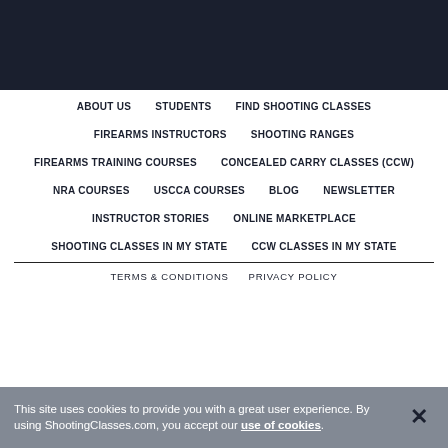[Figure (other): Dark navy header bar at the top of the page]
ABOUT US
STUDENTS
FIND SHOOTING CLASSES
FIREARMS INSTRUCTORS
SHOOTING RANGES
FIREARMS TRAINING COURSES
CONCEALED CARRY CLASSES (CCW)
NRA COURSES
USCCA COURSES
BLOG
NEWSLETTER
INSTRUCTOR STORIES
ONLINE MARKETPLACE
SHOOTING CLASSES IN MY STATE
CCW CLASSES IN MY STATE
TERMS & CONDITIONS   PRIVACY POLICY
This site uses cookies to provide you with a great user experience. By using ShootingClasses.com, you accept our use of cookies.